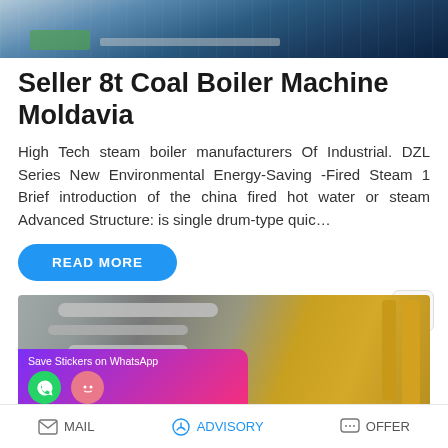[Figure (photo): Industrial boiler machinery photo at top of page]
Seller 8t Coal Boiler Machine Moldavia
High Tech steam boiler manufacturers Of Industrial. DZL Series New Environmental Energy-Saving -Fired Steam 1 Brief introduction of the china fired hot water or steam Advanced Structure: is single drum-type quic…
READ MORE
[Figure (photo): Industrial boiler room with silver pipes and yellow pipes, with WhatsApp stickers overlay]
MAIL   ADVISORY   OFFER